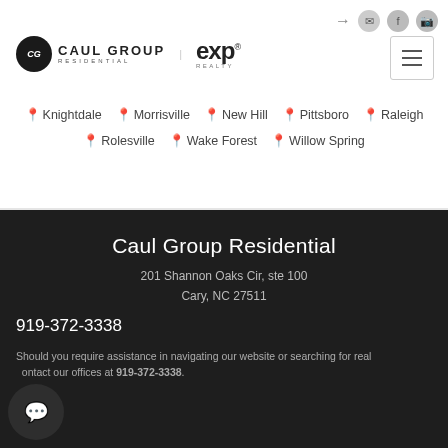[Figure (logo): Caul Group Residential and eXp Realty logos with hamburger menu and icon bar]
Knightdale  Morrisville  New Hill  Pittsboro  Raleigh  Rolesville  Wake Forest  Willow Spring
Caul Group Residential
201 Shannon Oaks Cir, ste 100
Cary, NC 27511
919-372-3338
Should you require assistance in navigating our website or searching for real estate, please contact our offices at 919-372-3338.